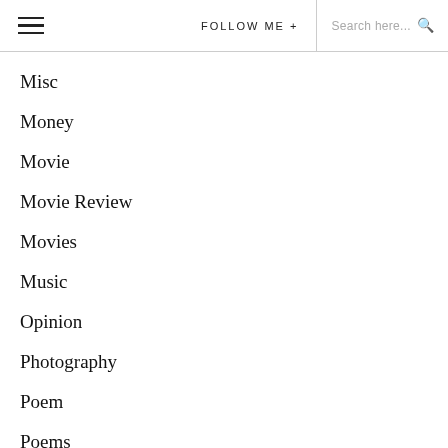FOLLOW ME +  Search here...
Misc
Money
Movie
Movie Review
Movies
Music
Opinion
Photography
Poem
Poems
Politics
Politics